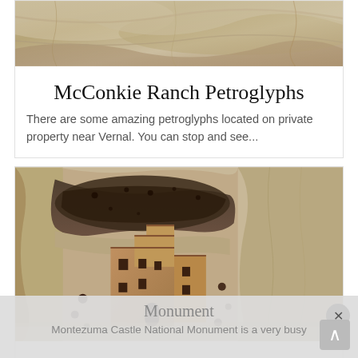[Figure (photo): Partial top view of rock/stone surface with layered formations - cropped at top of page]
McConkie Ranch Petroglyphs
There are some amazing petroglyphs located on private property near Vernal. You can stop and see...
[Figure (photo): Ancient cliff dwelling (Montezuma Castle) built into a limestone cliff face - multi-story adobe structure in a large cave alcove]
Montezuma Castle National Monument
Monument
Montezuma Castle National Monument is a very busy